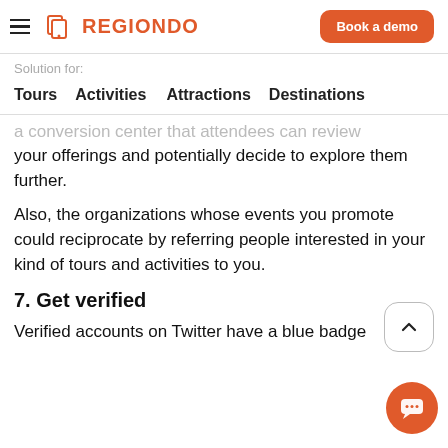REGIONDO | Book a demo
Solution for:
Tours   Activities   Attractions   Destinations
... conversion center that attendees can review your offerings and potentially decide to explore them further.
Also, the organizations whose events you promote could reciprocate by referring people interested in your kind of tours and activities to you.
7. Get verified
Verified accounts on Twitter have a blue badge